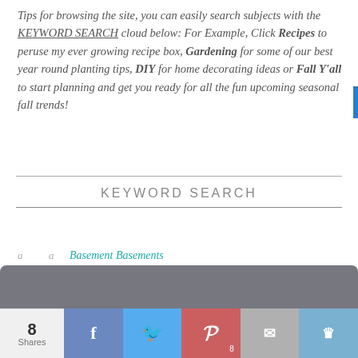Tips for browsing the site, you can easily search subjects with the KEYWORD SEARCH cloud below: For Example, Click Recipes to peruse my ever growing recipe box, Gardening for some of our best year round planting tips, DIY for home decorating ideas or Fall Y'all to start planning and get you ready for all the fun upcoming seasonal fall trends!
KEYWORD SEARCH
We use cookies to optimize our website and our services.
ACCEPT